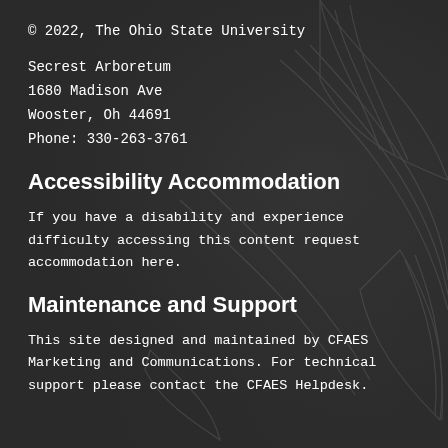© 2022, The Ohio State University
Secrest Arboretum
1680 Madison Ave
Wooster, Oh 44691
Phone: 330-263-3761
Accessibility Accommodation
If you have a disability and experience difficulty accessing this content request accommodation here.
Maintenance and Support
This site designed and maintained by CFAES Marketing and Communications. For technical support please contact the CFAES Helpdesk.